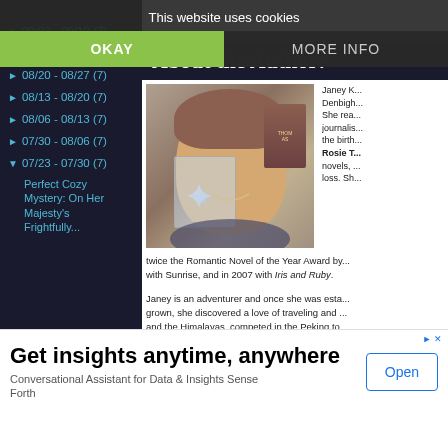This website uses cookies
OKAY
MORE INFO
► 09/03 - 09/10 (7)
► 08/27 - 09/03 (7)
► 08/20 - 08/27 (7)
► 08/13 - 08/20 (7)
► 08/06 - 08/13 (7)
► 07/30 - 08/06 (7)
▼ 07/23 - 07/30 (7)
Perfect Cozy Mystery: On Her Majesty's Frightfully...
About the Author:
[Figure (photo): Author photo: woman smiling holding a star-shaped award, with a book visible in background]
Janey K... Denbigh... She rea... journalis... the birth... Rosie T... novels, ... loss. Sh... twice the Romantic Novel of the Year Award by... with Sunrise, and in 2007 with Iris and Ruby.
Janey is an adventurer and once she was esta... grown, she discovered a love of traveling and ... and the Himalayas, competed in the Peking to... research station in Antarctica and traveled the...
Get insights anytime, anywhere
Conversational Assistant for Data & Insights Sense Forth
Open